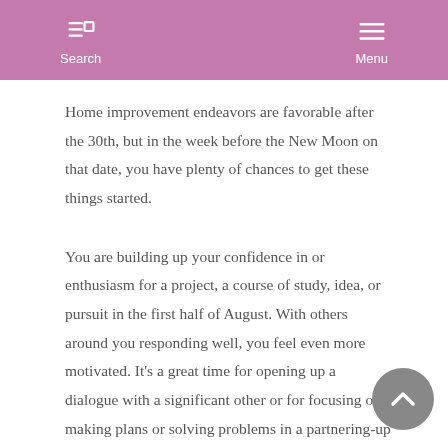Search  Menu
Home improvement endeavors are favorable after the 30th, but in the week before the New Moon on that date, you have plenty of chances to get these things started.
You are building up your confidence in or enthusiasm for a project, a course of study, idea, or pursuit in the first half of August. With others around you responding well, you feel even more motivated. It's a great time for opening up a dialogue with a significant other or for focusing on making plans or solving problems in a partnering-up or counseling scenario. You may meet someone